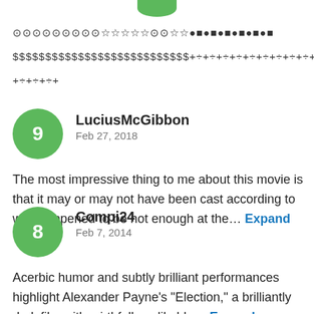[Figure (other): Green circular avatar partially visible at top of page]
⊙⊙⊙⊙⊙⊙⊙⊙⊙☆☆☆☆☆⊙⊙☆☆●■●■●■●■●■●■
$$$$$$$$$$$$$$$$$$$$$$$$$$$+÷+÷+÷+÷+÷+÷+÷+÷+÷+÷+÷+÷+÷+
+÷+÷+÷+
[Figure (other): Green circle avatar with number 9]
LuciusMcGibbon
Feb 27, 2018
The most impressive thing to me about this movie is that it may or may not have been cast according to who happened to be hot enough at the… Expand
[Figure (other): Green circle avatar with number 8]
Compi24
Feb 7, 2014
Acerbic humor and subtly brilliant performances highlight Alexander Payne's "Election," a brilliantly dark film with mirthfully unlikable… Expand